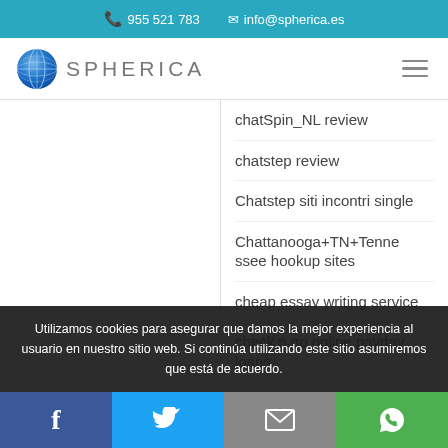955 521 783  info@spherica.es
[Figure (logo): Spherica globe logo with text SPHERICA]
chatSpin_NL review
chatstep review
Chatstep siti incontri single
Chattanooga+TN+Tennessee hookup sites
cheap essay writing service
check n go online payday loans
Utilizamos cookies para asegurar que damos la mejor experiencia al usuario en nuestro sitio web. Si continúa utilizando este sitio asumiremos que está de acuerdo.